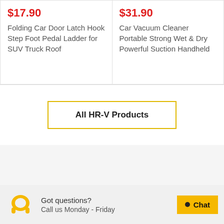$17.90
Folding Car Door Latch Hook Step Foot Pedal Ladder for SUV Truck Roof
$31.90
Car Vacuum Cleaner Portable Strong Wet & Dry Powerful Suction Handheld
All HR-V Products
Got questions?
Call us Monday - Friday
Chat